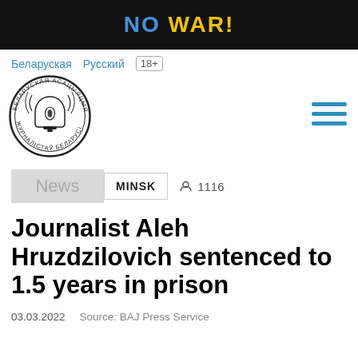NO WAR!
Беларуская  Русский  18+
[Figure (logo): Circular logo of the Belarusian Association of Journalists with a bell and pen nib illustration and Cyrillic text around the border]
News  MINSK  1116
Journalist Aleh Hruzdzilovich sentenced to 1.5 years in prison
03.03.2022  Source: BAJ Press Service